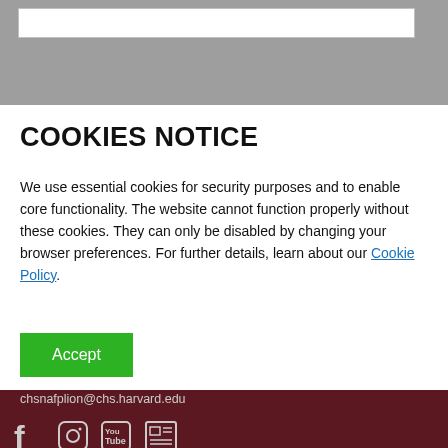COOKIES NOTICE
We use essential cookies for security purposes and to enable core functionality. The website cannot function properly without these cookies. They can only be disabled by changing your browser preferences. For further details, learn about our Cookie Policy.
Accept
chsnafplion@chs.harvard.edu
Quick links